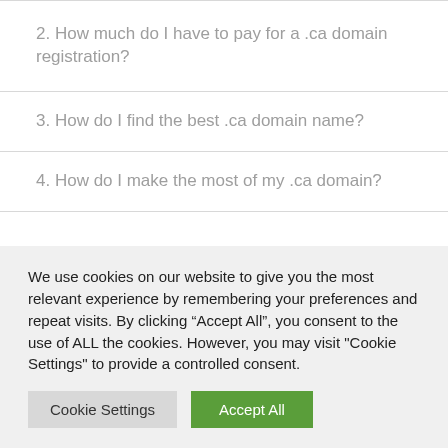2. How much do I have to pay for a .ca domain registration?
3. How do I find the best .ca domain name?
4. How do I make the most of my .ca domain?
We use cookies on our website to give you the most relevant experience by remembering your preferences and repeat visits. By clicking “Accept All”, you consent to the use of ALL the cookies. However, you may visit "Cookie Settings" to provide a controlled consent.